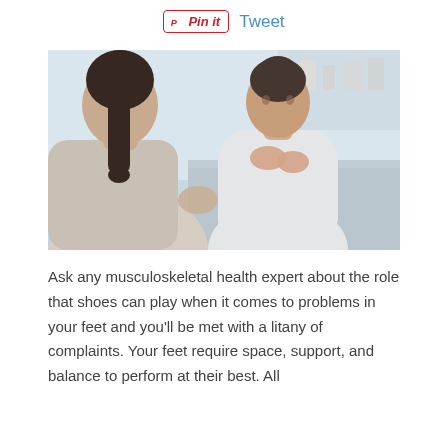[Figure (photo): A female doctor in a white coat sits across from a female patient in a medical office, listening attentively with hands clasped near her face. A tablet device is visible on the desk between them.]
Ask any musculoskeletal health expert about the role that shoes can play when it comes to problems in your feet and you'll be met with a litany of complaints. Your feet require space, support, and balance to perform at their best. All